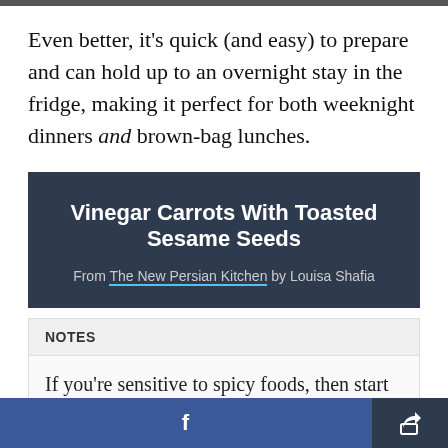Even better, it's quick (and easy) to prepare and can hold up to an overnight stay in the fridge, making it perfect for both weeknight dinners and brown-bag lunches.
Vinegar Carrots With Toasted Sesame Seeds
From The New Persian Kitchen by Louisa Shafia
NOTES
If you're sensitive to spicy foods, then start with 1/2 teaspoon red pepper flakes and add more to taste.
f [Facebook share button] [Share button]